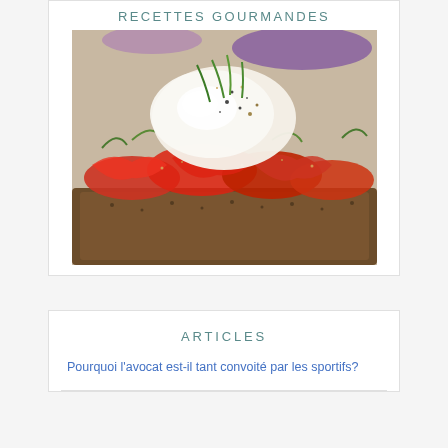RECETTES GOURMANDES
[Figure (photo): A bruschetta-style open sandwich topped with chopped tomatoes, herbs, and a poached egg with seeds and spices on multigrain bread]
ARTICLES
Pourquoi l’avocat est-il tant convoité par les sportifs?